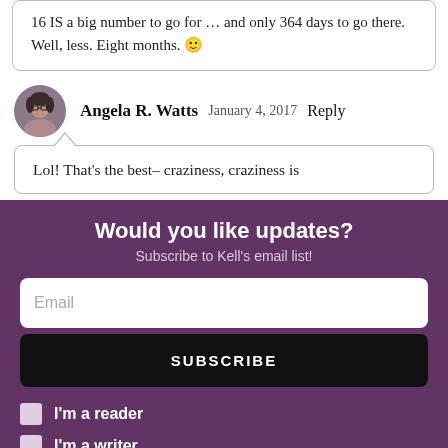16 IS a big number to go for … and only 364 days to go there. Well, less. Eight months. 🙂
Angela R. Watts   January 4, 2017   Reply
Lol! That's the best– craziness, craziness is
Would you like updates?
Subscribe to Kell's email list!
Email
SUBSCRIBE
I'm a reader
I'm a writer
No thanks, I'm not interested